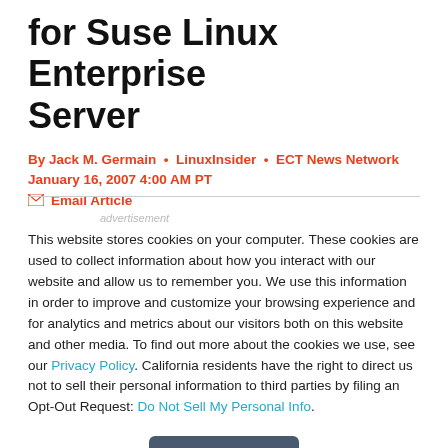for Suse Linux Enterprise Server
By Jack M. Germain  •  LinuxInsider  •  ECT News Network
January 16, 2007 4:00 AM PT
✉ Email Article
advertisement
This website stores cookies on your computer. These cookies are used to collect information about how you interact with our website and allow us to remember you. We use this information in order to improve and customize your browsing experience and for analytics and metrics about our visitors both on this website and other media. To find out more about the cookies we use, see our Privacy Policy. California residents have the right to direct us not to sell their personal information to third parties by filing an Opt-Out Request: Do Not Sell My Personal Info.
Accept